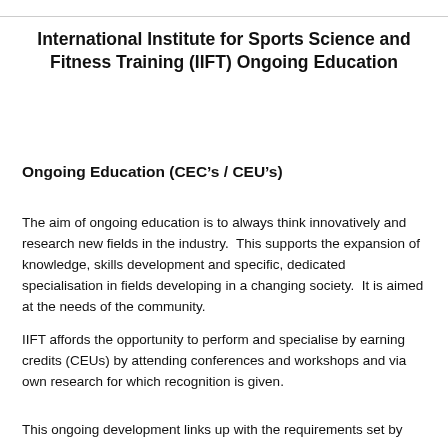International Institute for Sports Science and Fitness Training (IIFT) Ongoing Education
Ongoing Education (CEC’s / CEU’s)
The aim of ongoing education is to always think innovatively and research new fields in the industry.  This supports the expansion of knowledge, skills development and specific, dedicated specialisation in fields developing in a changing society.  It is aimed at the needs of the community.
IIFT affords the opportunity to perform and specialise by earning credits (CEUs) by attending conferences and workshops and via own research for which recognition is given.
This ongoing development links up with the requirements set by